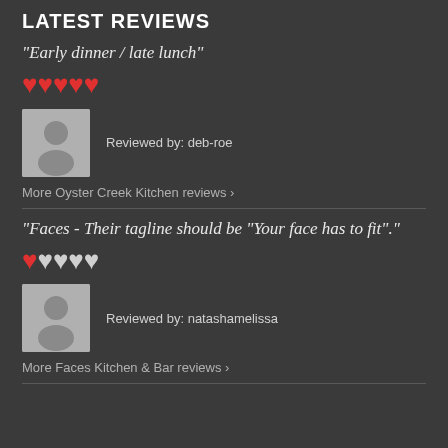LATEST REVIEWS
"Early dinner / late lunch"
[Figure (other): 5 red heart rating icons]
[Figure (other): User avatar placeholder icon]
Reviewed by: deb-roe
More Oyster Creek Kitchen reviews >
"Faces - Their tagline should be "Your face has to fit"."
[Figure (other): 1 red heart and 4 white/outline heart rating icons]
[Figure (other): User avatar placeholder icon]
Reviewed by: natashamelissa
More Faces Kitchen & Bar reviews >